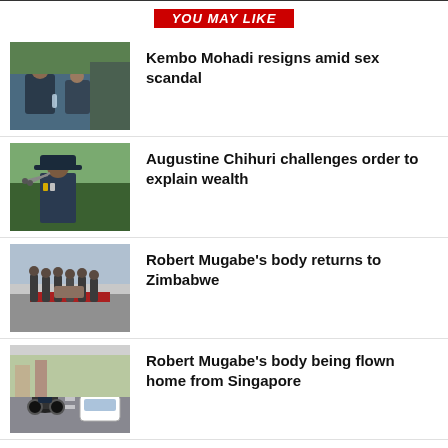YOU MAY LIKE
Kembo Mohadi resigns amid sex scandal
Augustine Chihuri challenges order to explain wealth
Robert Mugabe's body returns to Zimbabwe
Robert Mugabe's body being flown home from Singapore
Robert Gabriel Mugabe, Zimbabwe ex-president, dies aged 95